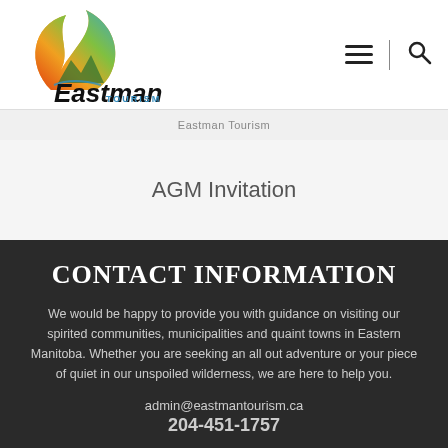[Figure (logo): Eastman Tourism logo with colorful leaf/flame design and stylized text]
Eastman Tourism
AGM Invitation
CONTACT INFORMATION
We would be happy to provide you with guidance on visiting our spirited communities, municipalities and quaint towns in Eastern Manitoba. Whether you are seeking an all out adventure or your piece of quiet in our unspoiled wilderness, we are here to help you.
admin@eastmantourism.ca
204-451-1757